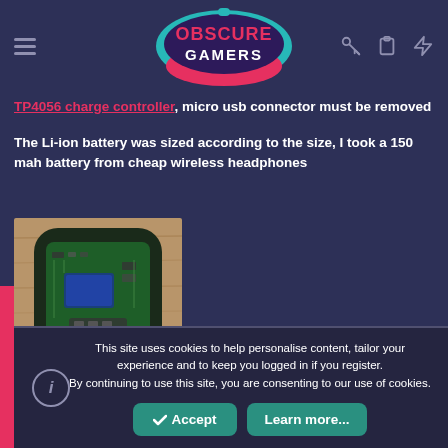[Figure (logo): Obscure Gamers logo — teal and pink speech bubble with controller shape, white and pink text reading OBSCURE GAMERS]
TP4056 charge controller, micro usb connector must be removed
The Li-ion battery was sized according to the size, I took a 150 mah battery from cheap wireless headphones
[Figure (photo): Photo of the back of a gaming controller showing green circuit board and electronic components]
This site uses cookies to help personalise content, tailor your experience and to keep you logged in if you register.
By continuing to use this site, you are consenting to our use of cookies.